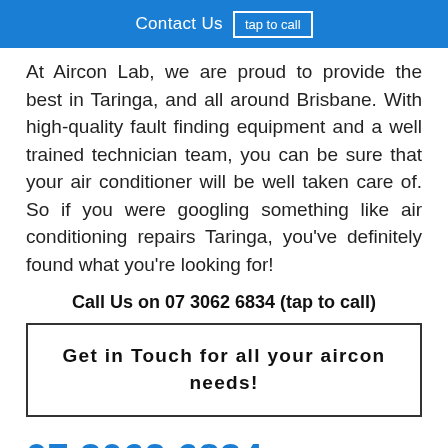Contact Us  tap to call
At Aircon Lab, we are proud to provide the best in Taringa, and all around Brisbane. With high-quality fault finding equipment and a well trained technician team, you can be sure that your air conditioner will be well taken care of. So if you were googling something like air conditioning repairs Taringa, you've definitely found what you're looking for!
Call Us on 07 3062 6834 (tap to call)
Get in Touch for all your aircon needs!
07 3062 6834